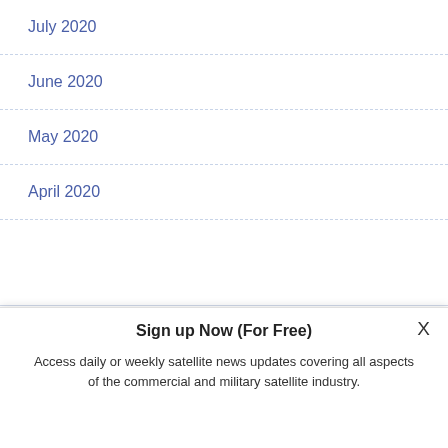July 2020
June 2020
May 2020
April 2020
[Figure (illustration): WaveSwitch advertisement banner with golden-brown gradient background, showing 'WaveSwitch' brand name, wave graphic, and text 'REAL TIME DYNAMIC']
Sign up Now (For Free)
Access daily or weekly satellite news updates covering all aspects of the commercial and military satellite industry.